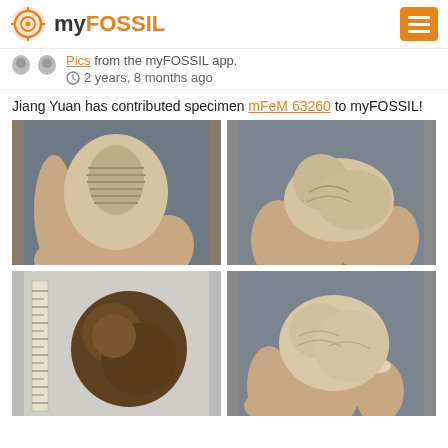myFOSSIL
Pics from the myFOSSIL app.
2 years, 8 months ago
Jiang Yuan has contributed specimen mFeM 63260 to myFOSSIL!
[Figure (photo): Hand holding a trilobite fossil specimen, viewed from the front showing ribbed segments]
[Figure (photo): Hand holding a brachiopod or similar fossil specimen, side view against gray background]
[Figure (photo): Fossil specimen placed next to a ruler on a speckled surface, showing scale]
[Figure (photo): Hand holding a fossil specimen, showing texture and form against gray background]